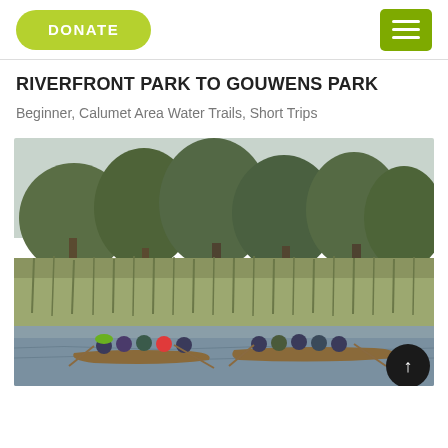DONATE | [menu icon]
RIVERFRONT PARK TO GOUWENS PARK
Beginner, Calumet Area Water Trails, Short Trips
[Figure (photo): Group of people paddling canoes on a river with dense reeds and large trees in the background. Multiple canoes visible with many paddlers wearing life jackets. Green foliage fills the background.]